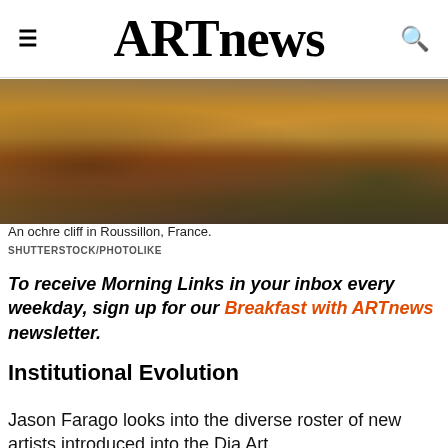ARTnews
[Figure (photo): An ochre cliff scene in Roussillon, France, showing warm orange and brown earth tones with vegetation.]
An ochre cliff in Roussillon, France.
SHUTTERSTOCK/PHOTOLIKE
To receive Morning Links in your inbox every weekday, sign up for our Breakfast with ARTnews newsletter.
Institutional Evolution
Jason Farago looks into the diverse roster of new artists introduced into the Dia Art